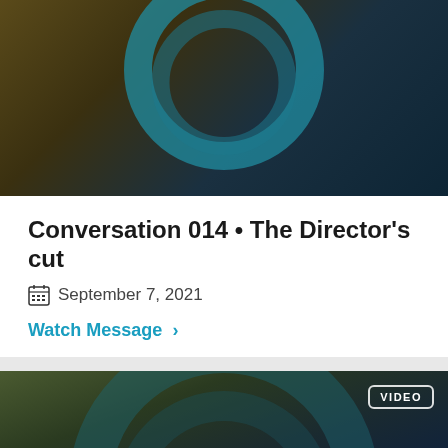[Figure (illustration): Dark background image with teal circular ring graphic overlaid at top center]
Conversation 014 • The Director's cut
September 7, 2021
Watch Message >
[Figure (illustration): Dark moody background image with large teal circular ring graphic, 'CONVERSATIONS' watermark text, VIDEO badge in top right, and 'Part 1' text overlay]